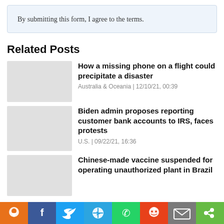By submitting this form, I agree to the terms.
Related Posts
How a missing phone on a flight could precipitate a disaster
Australia & Oceania | 12/10/21, 00:39
Biden admin proposes reporting customer bank accounts to IRS, faces protests
U.S. | 09/22/21, 16:36
Chinese-made vaccine suspended for operating unauthorized plant in Brazil